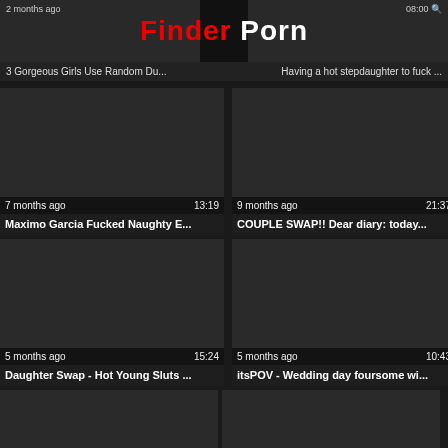Finder Porn
2 months ago | 3 Gorgeous Girls Use Random Du... | Having a hot stepdaughter to fuck ... | 08:00
[Figure (screenshot): Video thumbnail placeholder dark]
7 months ago  13:19
Maximo Garcia Fucked Naughty E...
[Figure (screenshot): Video thumbnail placeholder dark]
9 months ago  21:37
COUPLE SWAP!! Dear diary: today...
[Figure (screenshot): Video thumbnail placeholder dark]
5 months ago  15:24
Daughter Swap - Hot Young Sluts ...
[Figure (screenshot): Video thumbnail placeholder dark]
5 months ago  10:43
itsPOV - Wedding day foursome wi...